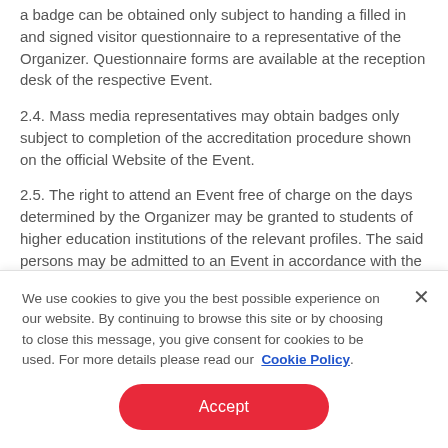a badge can be obtained only subject to handing a filled in and signed visitor questionnaire to a representative of the Organizer. Questionnaire forms are available at the reception desk of the respective Event.
2.4. Mass media representatives may obtain badges only subject to completion of the accreditation procedure shown on the official Website of the Event.
2.5. The right to attend an Event free of charge on the days determined by the Organizer may be granted to students of higher education institutions of the relevant profiles. The said persons may be admitted to an Event in accordance with the list certified by the higher education institution administration and agreed with the
We use cookies to give you the best possible experience on our website. By continuing to browse this site or by choosing to close this message, you give consent for cookies to be used. For more details please read our Cookie Policy.
Accept